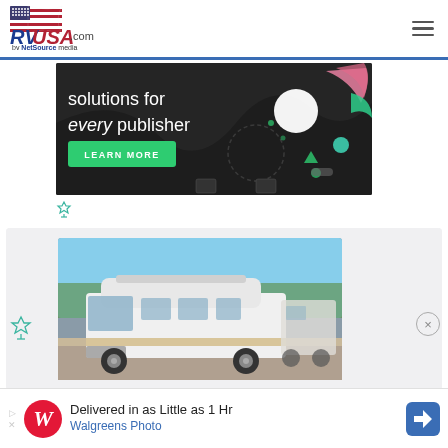[Figure (logo): RVUSA.com by NetSource media logo with American flag graphic]
[Figure (screenshot): Advertisement banner: dark background with text 'solutions for every publisher' and a green 'LEARN MORE' button, with colorful abstract shapes on the right]
[Figure (photo): Photo of a white conversion van / Class B RV parked outdoors]
[Figure (screenshot): Bottom advertisement bar for Walgreens Photo: 'Delivered in as Little as 1 Hr' with Walgreens logo]